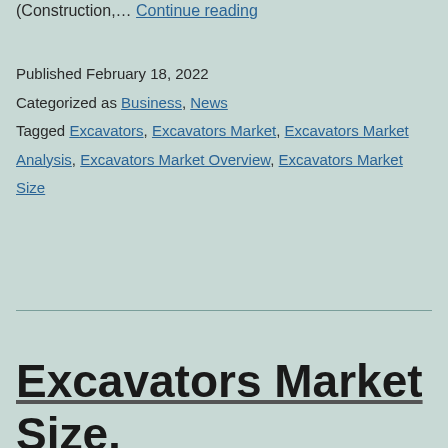(Construction,... Continue reading
Published February 18, 2022
Categorized as Business, News
Tagged Excavators, Excavators Market, Excavators Market Analysis, Excavators Market Overview, Excavators Market Size
Excavators Market Size, 2022 Review and Research...